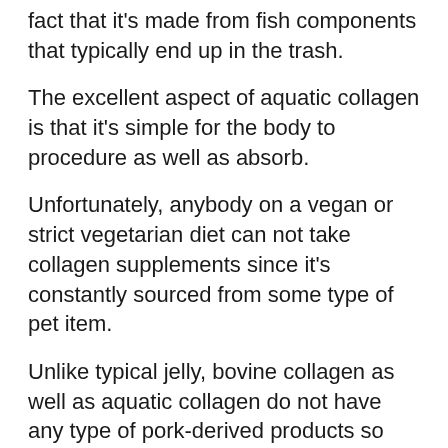fact that it's made from fish components that typically end up in the trash.
The excellent aspect of aquatic collagen is that it's simple for the body to procedure as well as absorb.
Unfortunately, anybody on a vegan or strict vegetarian diet can not take collagen supplements since it's constantly sourced from some type of pet item.
Unlike typical jelly, bovine collagen as well as aquatic collagen do not have any type of pork-derived products so they are appropriate for anybody on a kosher or halal diet plan.